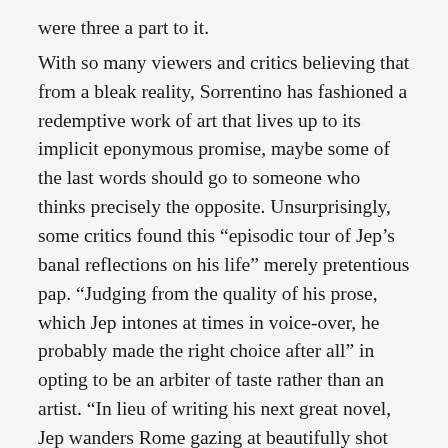were three a part to it. With so many viewers and critics believing that from a bleak reality, Sorrentino has fashioned a redemptive work of art that lives up to its implicit eponymous promise, maybe some of the last words should go to someone who thinks precisely the opposite. Unsurprisingly, some critics found this “episodic tour of Jep’s banal reflections on his life” merely pretentious pap. “Judging from the quality of his prose, which Jep intones at times in voice-over, he probably made the right choice after all” in opting to be an arbiter of taste rather than an artist. “In lieu of writing his next great novel, Jep wanders Rome gazing at beautifully shot nudes with an expression of knowing melancholy… Or he lounges at soirees and acts like a pompous boor, insulting women, exposing phonies, and waxing eloquent about life, transcience, and the irony of it all.